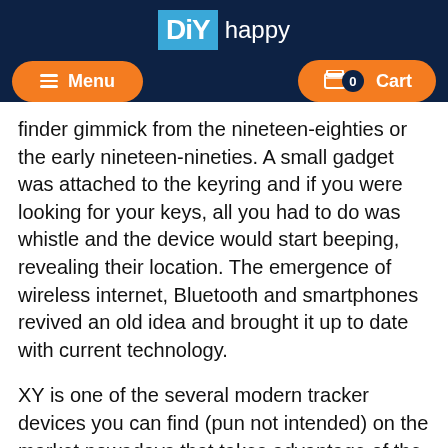[Figure (logo): DIY happy logo — blue square with white 'DiY' text and white 'happy' text beside it, on dark navy background]
Menu | Cart 0
finder gimmick from the nineteen-eighties or the early nineteen-nineties. A small gadget was attached to the keyring and if you were looking for your keys, all you had to do was whistle and the device would start beeping, revealing their location. The emergence of wireless internet, Bluetooth and smartphones revived an old idea and brought it up to date with current technology.
XY is one of the several modern tracker devices you can find (pun not intended) on the market nowadays that takes advantage of the technological advancements. The device does an excellent job of keeping tabs and locating your belongings. Primarily using Bluetooth connectivity, it means